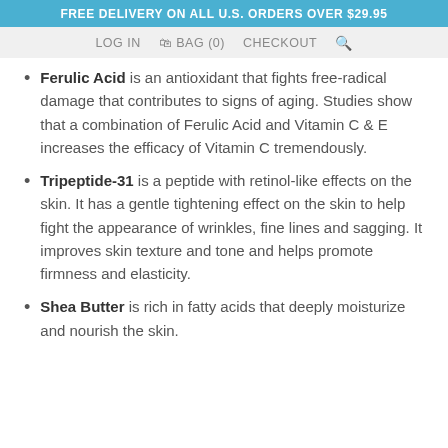FREE DELIVERY ON ALL U.S. ORDERS OVER $29.95
LOG IN  BAG (0)  CHECKOUT
Ferulic Acid is an antioxidant that fights free-radical damage that contributes to signs of aging. Studies show that a combination of Ferulic Acid and Vitamin C & E increases the efficacy of Vitamin C tremendously.
Tripeptide-31 is a peptide with retinol-like effects on the skin. It has a gentle tightening effect on the skin to help fight the appearance of wrinkles, fine lines and sagging. It improves skin texture and tone and helps promote firmness and elasticity.
Shea Butter is rich in fatty acids that deeply moisturize and nourish the skin.